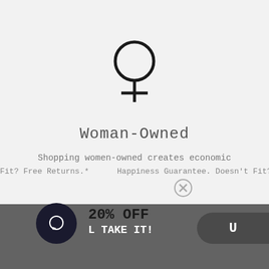[Figure (illustration): Venus/female gender symbol drawn in black outline: circle on top with a cross below]
Woman-Owned
Shopping women-owned creates economic success for all, furthers innovation, and promotes gender equality.
Fit? Free Returns.*   Happiness Guarantee. Doesn't Fit? Free Returns.*
[Figure (screenshot): Promotional popup overlay showing '20% OFF' and 'L TAKE IT!' button with chat bubble icon, close X button, and a dark pill-shaped button with 'U']